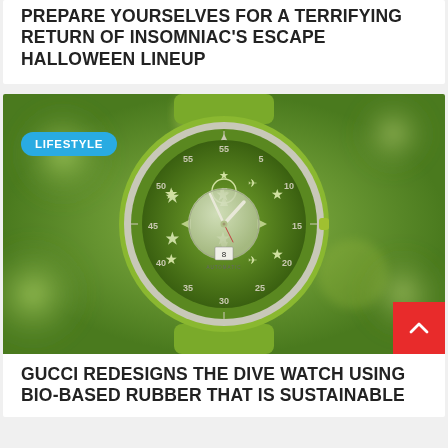PREPARE YOURSELVES FOR A TERRIFYING RETURN OF INSOMNIAC'S ESCAPE HALLOWEEN LINEUP
[Figure (photo): Close-up photo of a green Gucci dive watch with stars and airplane motifs on the face, displayed against a blurred green bokeh background. A cyan 'LIFESTYLE' badge overlay is in the top-left corner.]
GUCCI REDESIGNS THE DIVE WATCH USING BIO-BASED RUBBER THAT IS SUSTAINABLE